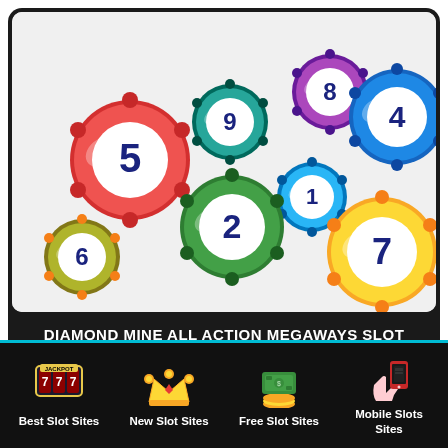[Figure (illustration): Colorful numbered lottery balls (5, 9, 8, 4, 6, 2, 1, 7 visible) scattered on a light grey background inside a dark rounded card]
DIAMOND MINE ALL ACTION MEGAWAYS SLOT MACHINE
[Figure (illustration): Partial view of the same lottery balls image in a second card below, cropped at bottom]
Best Slot Sites
New Slot Sites
Free Slot Sites
Mobile Slots Sites